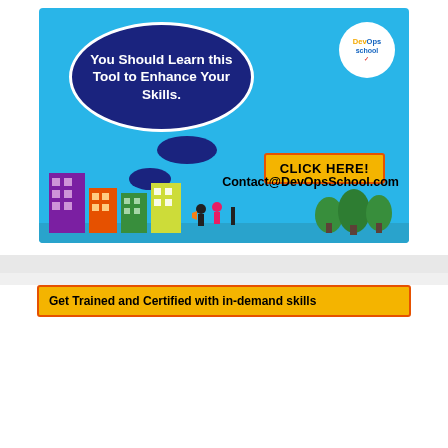[Figure (infographic): DevOps School advertisement banner on light blue background showing city buildings, speech bubble saying 'You Should Learn this Tool to Enhance Your Skills.', a 'CLICK HERE!' button, DevOps School logo circle, and contact email Contact@DevOpsSchool.com]
[Figure (infographic): Partial view of another DevOps School advertisement banner with yellow/orange background and text partially visible, likely 'Get Trained and Certified with in-demand skills']